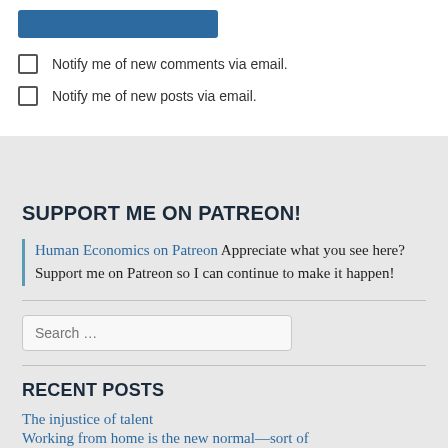[Figure (other): Blue submit button (partially visible at top)]
Notify me of new comments via email.
Notify me of new posts via email.
SUPPORT ME ON PATREON!
Human Economics on Patreon Appreciate what you see here? Support me on Patreon so I can continue to make it happen!
Search ...
RECENT POSTS
The injustice of talent
Working from home is the new normal—sort of